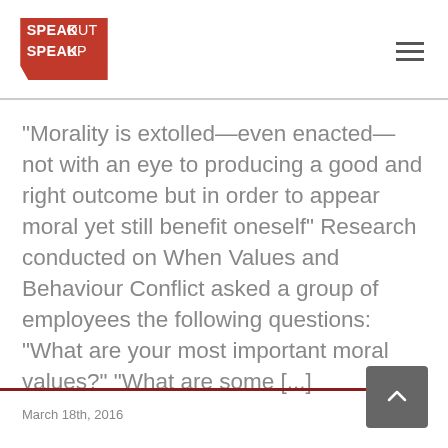SPEAK OUT SPEAK UP
“Morality is extolled—even enacted—not with an eye to producing a good and right outcome but in order to appear moral yet still benefit oneself” Research conducted on When Values and Behaviour Conflict asked a group of employees the following questions: “What are your most important moral values?” “What are some […]
March 18th, 2016